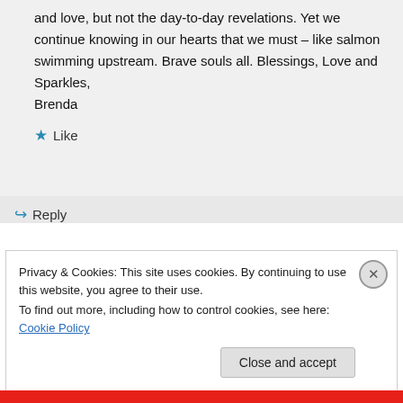and love, but not the day-to-day revelations. Yet we continue knowing in our hearts that we must – like salmon swimming upstream. Brave souls all. Blessings, Love and Sparkles, Brenda
★ Like
↳ Reply
Privacy & Cookies: This site uses cookies. By continuing to use this website, you agree to their use. To find out more, including how to control cookies, see here: Cookie Policy